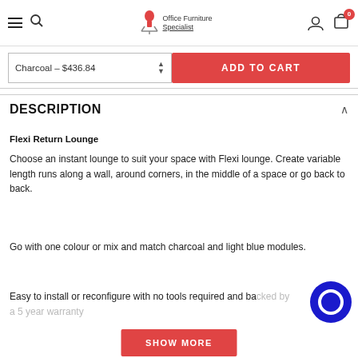Office Furniture Specialist — navigation bar with hamburger menu, search, logo, user icon, cart (0)
Charcoal - $436.84   ADD TO CART
DESCRIPTION
Flexi Return Lounge
Choose an instant lounge to suit your space with Flexi lounge. Create variable length runs along a wall, around corners, in the middle of a space or go back to back.
Go with one colour or mix and match charcoal and light blue modules.
Easy to install or reconfigure with no tools required and backed by a 5 year warranty
SHOW MORE